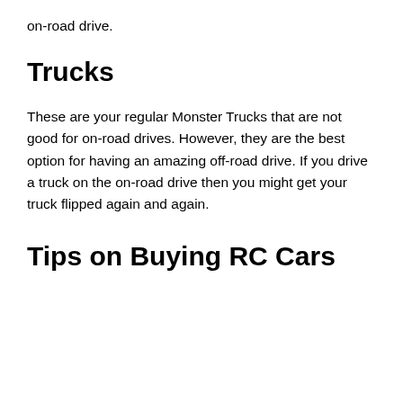on-road drive.
Trucks
These are your regular Monster Trucks that are not good for on-road drives. However, they are the best option for having an amazing off-road drive. If you drive a truck on the on-road drive then you might get your truck flipped again and again.
Tips on Buying RC Cars